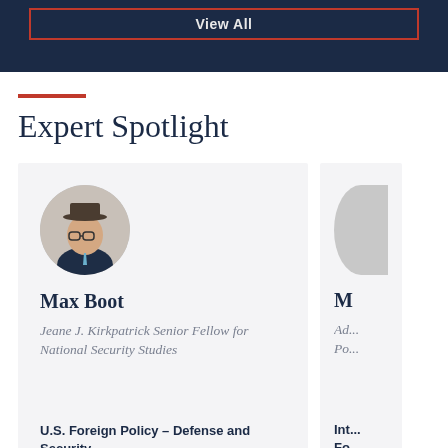View All
Expert Spotlight
[Figure (photo): Circular portrait photo of Max Boot wearing a hat and glasses, in a suit]
Max Boot
Jeane J. Kirkpatrick Senior Fellow for National Security Studies
U.S. Foreign Policy – Defense and Security – Military History
[Figure (photo): Partial circular portrait photo of a second expert, partially cropped at the right edge]
M
Ad... Po...
Int... Fo...